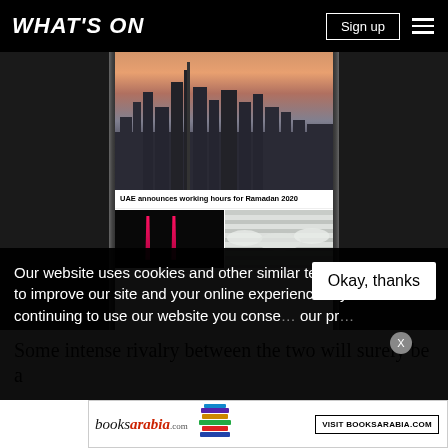WHAT'S ON
[Figure (screenshot): Phone mockup displaying a news website with city skyline image, headline 'UAE announces working hours for Ramadan 2020', and two smaller images below (light show and Emirates planes)]
Some intense rivalry between the two will surely be a
Our website uses cookies and other similar technologies to improve our site and your online experience. By continuing to use our website you consen... our pr...
[Figure (infographic): BooksArabia.com advertisement banner with logo and 'VISIT BOOKSARABIA.COM' button]